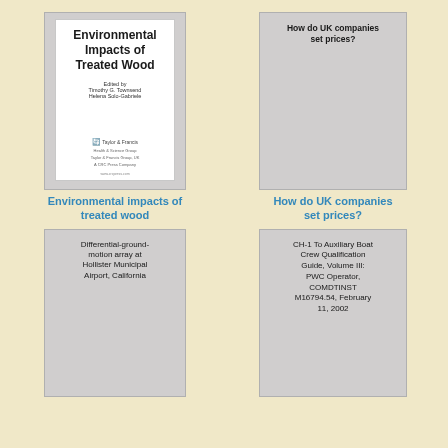[Figure (illustration): Book cover: Environmental Impacts of Treated Wood, edited by Timothy G. Townsend and Helena Solo-Gabriele, Taylor & Francis publisher]
Environmental impacts of treated wood
[Figure (illustration): Book cover (gray placeholder) with text: How do UK companies set prices?]
How do UK companies set prices?
[Figure (illustration): Document cover with text: Differential-ground-motion array at Hollister Municipal Airport, California]
[Figure (illustration): Document cover with text: CH-1 To Auxiliary Boat Crew Qualification Guide, Volume III: PWC Operator, COMDTINST M16794.54, February 11, 2002]